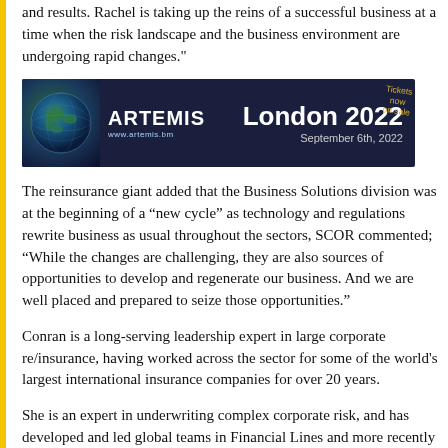and results. Rachel is taking up the reins of a successful business at a time when the risk landscape and the business environment are undergoing rapid changes."
[Figure (other): Artemis London 2022 advertisement banner. Shows globe logo, ARTEMIS branding, www.artemis.bm URL, 'London 2022' heading, 'September 6th, 2022' date, and 'Tickets now on sale' text.]
The reinsurance giant added that the Business Solutions division was at the beginning of a "new cycle" as technology and regulations rewrite business as usual throughout the sectors, SCOR commented; "While the changes are challenging, they are also sources of opportunities to develop and regenerate our business. And we are well placed and prepared to seize those opportunities."
Conran is a long-serving leadership expert in large corporate re/insurance, having worked across the sector for some of the world's largest international insurance companies for over 20 years.
She is an expert in underwriting complex corporate risk, and has developed and led global teams in Financial Lines and more recently Property and 1st party Cyber.